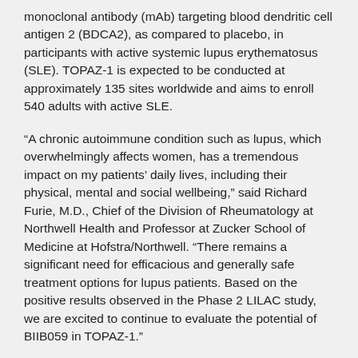monoclonal antibody (mAb) targeting blood dendritic cell antigen 2 (BDCA2), as compared to placebo, in participants with active systemic lupus erythematosus (SLE). TOPAZ-1 is expected to be conducted at approximately 135 sites worldwide and aims to enroll 540 adults with active SLE.
“A chronic autoimmune condition such as lupus, which overwhelmingly affects women, has a tremendous impact on my patients’ daily lives, including their physical, mental and social wellbeing,” said Richard Furie, M.D., Chief of the Division of Rheumatology at Northwell Health and Professor at Zucker School of Medicine at Hofstra/Northwell. “There remains a significant need for efficacious and generally safe treatment options for lupus patients. Based on the positive results observed in the Phase 2 LILAC study, we are excited to continue to evaluate the potential of BIIB059 in TOPAZ-1.”
Athira Pharma, Inc. (NASDAQ: ATHA), a late clinical-stage biopharmaceutical company focused on developing small molecules to restore neuronal health and stop neurodegeneration, recently reported financial results for the quarter ended March 31, 2021 and provided recent business highlights.
“We continue to execute on our corporate and clinical goals